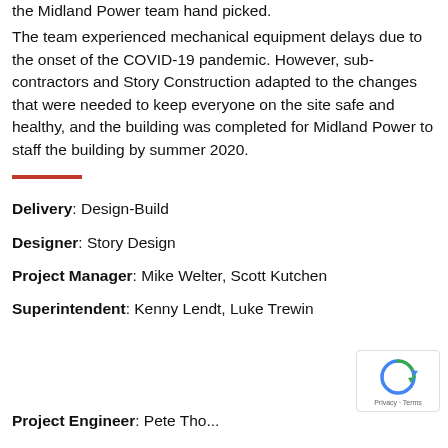the Midland Power team hand picked.
The team experienced mechanical equipment delays due to the onset of the COVID-19 pandemic. However, subcontractors and Story Construction adapted to the changes that were needed to keep everyone on the site safe and healthy, and the building was completed for Midland Power to staff the building by summer 2020.
Delivery: Design-Build
Designer: Story Design
Project Manager: Mike Welter, Scott Kutchen
Superintendent: Kenny Lendt, Luke Trewin
Project Engineer: Pete Tho...